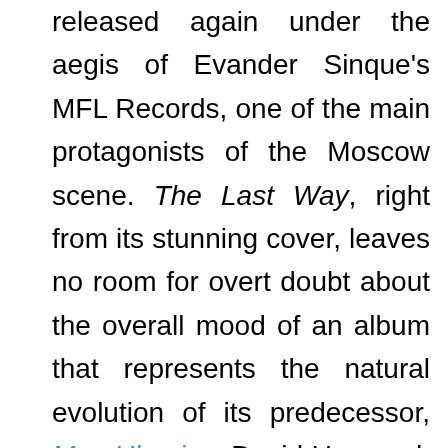released again under the aegis of Evander Sinque's MFL Records, one of the main protagonists of the Moscow scene. The Last Way, right from its stunning cover, leaves no room for overt doubt about the overall mood of an album that represents the natural evolution of its predecessor, Mze Ukunisa. David Unsaved, accompanied also on this occasion by his partner Serj Shenghelia (in the spotlight a few months ago with his death doom project No Regrets), confirms himself as a musician of great talent as well as innate sensitivity: his interpretation of funeral marries the most melancholic strand of the genre but all in all partially distances himself from the